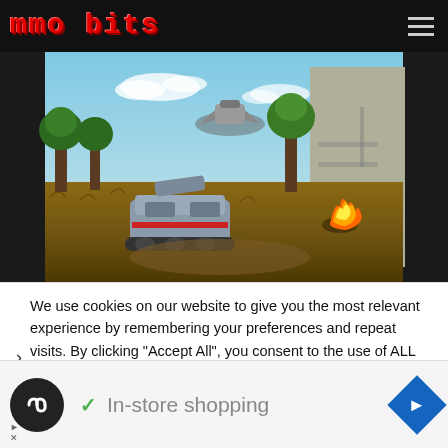mmo bits
[Figure (screenshot): Video game screenshot showing a sci-fi/military vehicle on a grassy field with trees and a large structure in the background, with a fire burning nearby]
We use cookies on our website to give you the most relevant experience by remembering your preferences and repeat visits. By clicking “Accept All”, you consent to the use of ALL cookies. However, you may visit "Cookie Settings" to
[Figure (infographic): Advertisement bar with a circular black icon with infinity symbol, a green checkmark, 'In-store shopping' text, and a blue diamond navigation arrow icon]